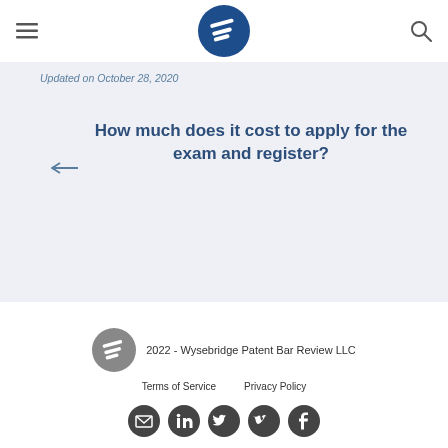Wysebridge Patent Bar Review
Updated on October 28, 2020
How much does it cost to apply for the exam and register?
2022 - Wysebridge Patent Bar Review LLC
Terms of Service   Privacy Policy